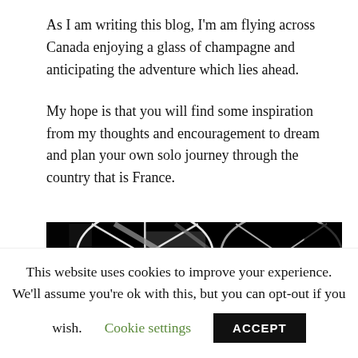As I am writing this blog, I'm am flying across Canada enjoying a glass of champagne and anticipating the adventure which lies ahead.
My hope is that you will find some inspiration from my thoughts and encouragement to dream and plan your own solo journey through the country that is France.
[Figure (photo): Black and white close-up photo of bicycle wheel spokes and frame components]
This website uses cookies to improve your experience. We'll assume you're ok with this, but you can opt-out if you wish. Cookie settings ACCEPT